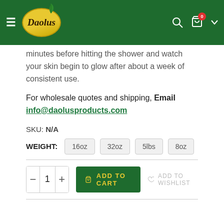[Figure (screenshot): Daolus brand navigation header bar with green background, hamburger menu, oval logo with leaf, search icon, cart icon with red badge showing 0, and dropdown arrow]
minutes before hitting the shower and watch your skin begin to glow after about a week of consistent use.
For wholesale quotes and shipping, Email info@daolusproducts.com
SKU: N/A
WEIGHT: 16oz 32oz 5lbs 8oz
1 ADD TO CART ADD TO WISHLIST